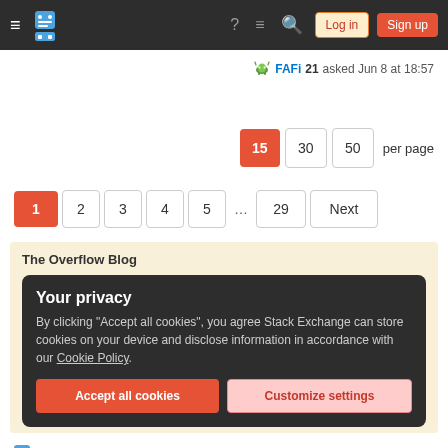≡  [Stack Exchange Logo]  ?  ≡  🔍  Log in  Sign up
FAFi 21 asked Jun 8 at 18:57
15  30  50  per page
1  2  3  4  5  ...  29  Next
The Overflow Blog
Your privacy
By clicking "Accept all cookies", you agree Stack Exchange can store cookies on your device and disclose information in accordance with our Cookie Policy.
Accept all cookies    Customize settings